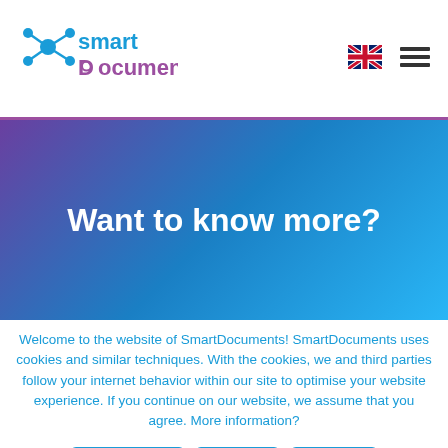[Figure (logo): SmartDocuments logo with blue molecule icon and purple/blue text 'smart Documents']
[Figure (other): UK flag icon for language selection]
[Figure (other): Hamburger menu icon (three horizontal lines)]
Want to know more?
Welcome to the website of SmartDocuments! SmartDocuments uses cookies and similar techniques. With the cookies, we and third parties follow your internet behavior within our site to optimise your website experience. If you continue on our website, we assume that you agree. More information?
Read More | Reject | Accept